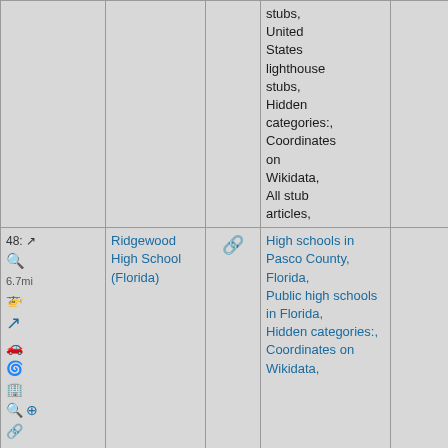|  |  |  | Categories |  |
| --- | --- | --- | --- | --- |
|  |  |  | stubs, United States lighthouse stubs, Hidden categories:, Coordinates on Wikidata, All stub articles, |  |
| 48: ↗ 6.7mi [icons] | Ridgewood High School (Florida) | 🔗 | High schools in Pasco County, Florida, Public high schools in Florida, Hidden categories:, Coordinates on Wikidata, |  |